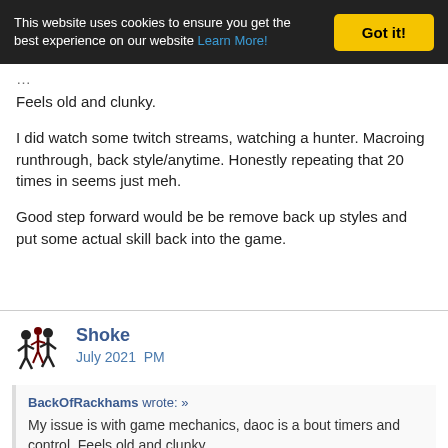This website uses cookies to ensure you get the best experience on our website Learn More! Got it!
Feels old and clunky.
I did watch some twitch streams, watching a hunter. Macroing runthrough, back style/anytime. Honestly repeating that 20 times in seems just meh.
Good step forward would be be remove back up styles and put some actual skill back into the game.
Shoke
July 2021  PM
BackOfRackhams wrote: »
My issue is with game mechanics, daoc is a bout timers and control. Feels old and clunky.